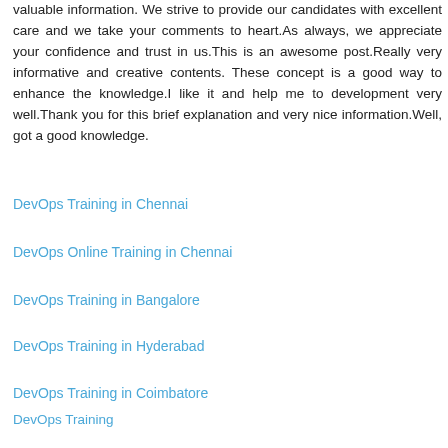valuable information. We strive to provide our candidates with excellent care and we take your comments to heart.As always, we appreciate your confidence and trust in us.This is an awesome post.Really very informative and creative contents. These concept is a good way to enhance the knowledge.I like it and help me to development very well.Thank you for this brief explanation and very nice information.Well, got a good knowledge.
DevOps Training in Chennai
DevOps Online Training in Chennai
DevOps Training in Bangalore
DevOps Training in Hyderabad
DevOps Training in Coimbatore
DevOps Training
DevOps Online Training
Reply